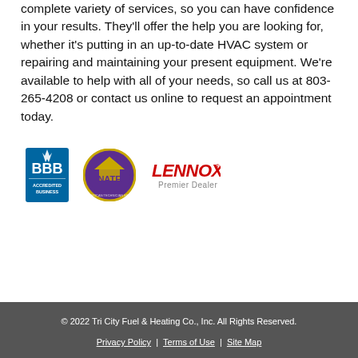complete variety of services, so you can have confidence in your results. They'll offer the help you are looking for, whether it's putting in an up-to-date HVAC system or repairing and maintaining your present equipment. We're available to help with all of your needs, so call us at 803-265-4208 or contact us online to request an appointment today.
[Figure (logo): BBB Accredited Business logo]
[Figure (logo): NATE North American Technician Excellence logo]
[Figure (logo): Lennox Premier Dealer logo]
© 2022 Tri City Fuel & Heating Co., Inc. All Rights Reserved. Privacy Policy | Terms of Use | Site Map